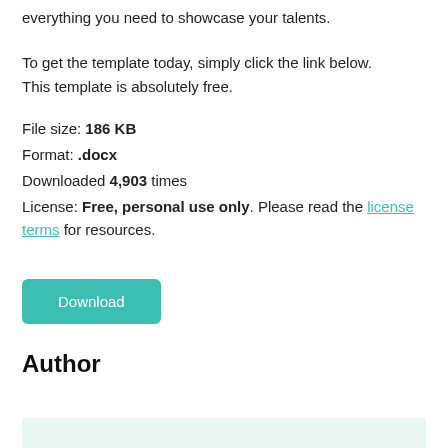everything you need to showcase your talents.
To get the template today, simply click the link below. This template is absolutely free.
File size: 186 KB
Format: .docx
Downloaded 4,903 times
License: Free, personal use only. Please read the license terms for resources.
Download
Author